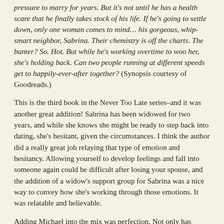pressure to marry for years. But it's not until he has a health scare that he finally takes stock of his life. If he's going to settle down, only one woman comes to mind… his gorgeous, whip-smart neighbor, Sabrina. Their chemistry is off the charts. The banter? So. Hot. But while he's working overtime to woo her, she's holding back. Can two people running at different speeds get to happily-ever-after together? (Synopsis courtesy of Goodreads.)
This is the third book in the Never Too Late series–and it was another great addition! Sabrina has been widowed for two years, and while she knows she might be ready to step back into dating, she's hesitant, given the circumstances. I think the author did a really great job relaying that type of emotion and hesitancy. Allowing yourself to develop feelings and fall into someone again could be difficult after losing your spouse, and the addition of a widow's support group for Sabrina was a nice way to convey how she's working through those emotions. It was relatable and believable.
Adding Michael into the mix was perfection. Not only has Sabrina felt the immense chemistry the two of them have together, which is mind-blowingly amazing, but a chink in his